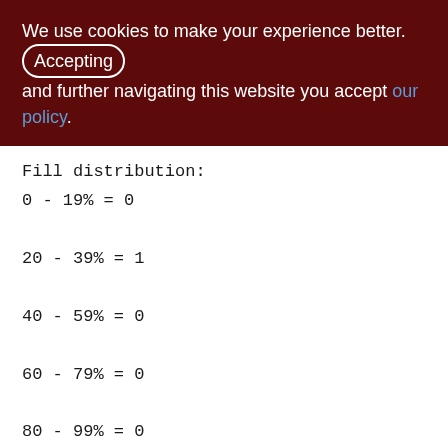We use cookies to make your experience better. By accepting and further navigating this website you accept our policy.
Fill distribution:
0 - 19% = 0
20 - 39% = 1
40 - 59% = 0
60 - 79% = 0
80 - 99% = 0

Index PK_MONEY_SALDO (0)
Root page: 272, depth: 1, leaf buckets: 1, nodes: 49
Average node length: 11.82, total dup: 0, max dup: 0